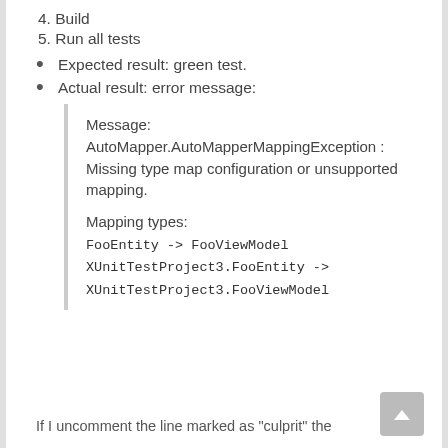4. Build
5. Run all tests
Expected result: green test.
Actual result: error message:
Message:
AutoMapper.AutoMapperMappingException : Missing type map configuration or unsupported mapping.

Mapping types:
FooEntity -> FooViewModel
XUnitTestProject3.FooEntity -> XUnitTestProject3.FooViewModel
If I uncomment the line marked as "culprit" the